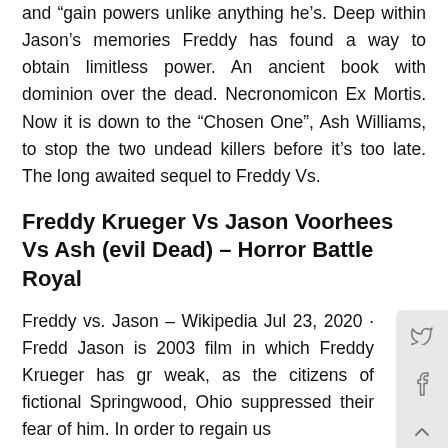and "gain powers unlike anything he's. Deep within Jason's memories Freddy has found a way to obtain limitless power. An ancient book with dominion over the dead. Necronomicon Ex Mortis. Now it is down to the "Chosen One", Ash Williams, to stop the two undead killers before it's too late. The long awaited sequel to Freddy Vs.
Freddy Krueger Vs Jason Voorhees Vs Ash (evil Dead) – Horror Battle Royal
Freddy vs. Jason – Wikipedia Jul 23, 2020 · Fredd Jason is 2003 film in which Freddy Krueger has g weak, as the citizens of fictional Springwood, Ohio suppressed their fear of him. In order to regain us